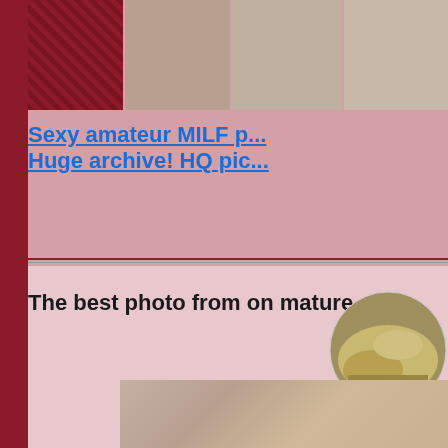[Figure (photo): Banner row of thumbnail photos at top of page]
Sexy amateur MILF p... Huge archive! HQ pic...
The best photo from on mature and...
[Figure (photo): Circular cropped photo]
[Figure (photo): Bottom photo of a woman smiling]